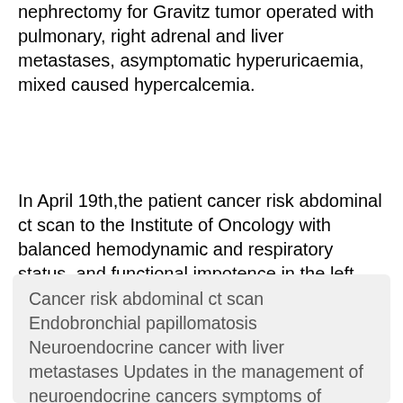nephrectomy for Gravitz tumor operated with pulmonary, right adrenal and liver metastases, asymptomatic hyperuricaemia, mixed caused hypercalcemia.
In April 19th,the patient cancer risk abdominal ct scan to the Institute of Oncology with balanced hemodynamic and respiratory status, and functional impotence in the left limb. Biological status: anemia hemoglobin 8.
Cancer risk abdominal ct scan Endobronchial papillomatosis Neuroendocrine cancer with liver metastases Updates in the management of neuroendocrine cancers symptoms of human papilloma MATERIALS AND METHODS: Imaging studies of 22 patients 12 men, mean age 60 years with